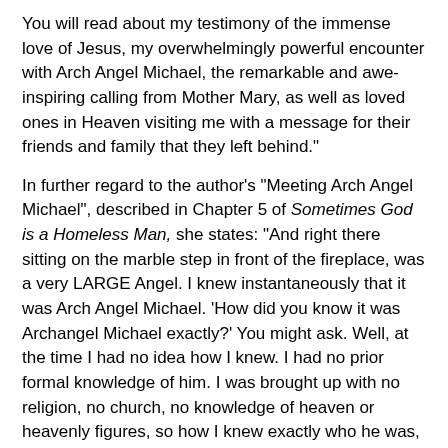You will read about my testimony of the immense love of Jesus, my overwhelmingly powerful encounter with Arch Angel Michael, the remarkable and awe-inspiring calling from Mother Mary, as well as loved ones in Heaven visiting me with a message for their friends and family that they left behind."
In further regard to the author's “Meeting Arch Angel Michael”, described in Chapter 5 of Sometimes God is a Homeless Man, she states: “And right there sitting on the marble step in front of the fireplace, was a very LARGE Angel. I knew instantaneously that it was Arch Angel Michael. ‘How did you know it was Archangel Michael exactly?’ You might ask. Well, at the time I had no idea how I knew. I had no prior formal knowledge of him. I was brought up with no religion, no church, no knowledge of heaven or heavenly figures, so how I knew exactly who he was, was a huge shock to me. But I knew without a doubt.”
[Figure (other): Black redacted/censored bar followed by text 'Civetta further']